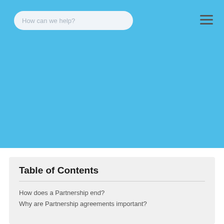How can we help?
Table of Contents
How does a Partnership end?
Why are Partnership agreements important?